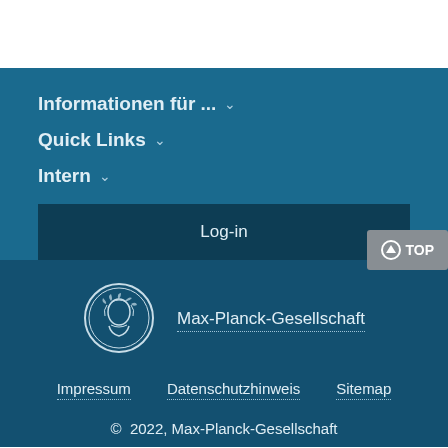Informationen für ... ∨
Quick Links ∨
Intern ∨
Log-in
[Figure (logo): Max-Planck-Gesellschaft circular coin/medal logo with portrait]
Max-Planck-Gesellschaft
Impressum
Datenschutzhinweis
Sitemap
© 2022, Max-Planck-Gesellschaft